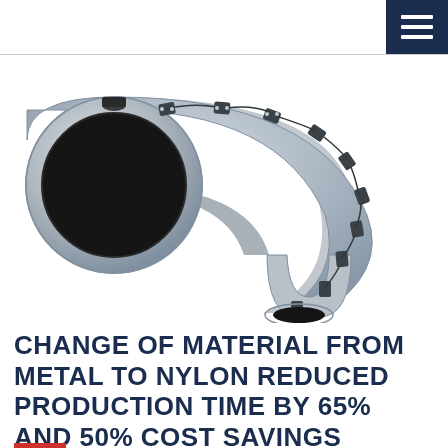[Figure (photo): 3D rendered image of a large grey nylon pipe elbow/bend fitting with attached sensor/clamp hardware and wiring, shown at an angle on white background]
CHANGE OF MATERIAL FROM METAL TO NYLON REDUCED PRODUCTION TIME BY 65% AND 50% COST SAVINGS